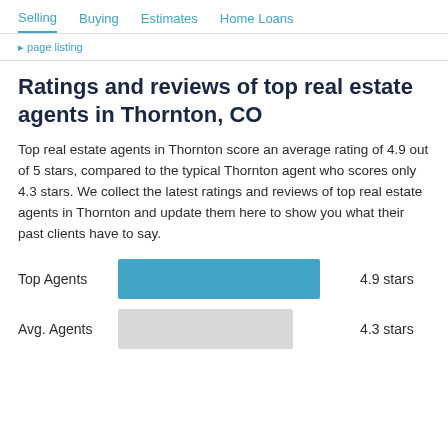Selling  Buying  Estimates  Home Loans
Ratings and reviews of top real estate agents in Thornton, CO
Top real estate agents in Thornton score an average rating of 4.9 out of 5 stars, compared to the typical Thornton agent who scores only 4.3 stars. We collect the latest ratings and reviews of top real estate agents in Thornton and update them here to show you what their past clients have to say.
[Figure (bar-chart): Top Agents vs Avg. Agents star ratings]